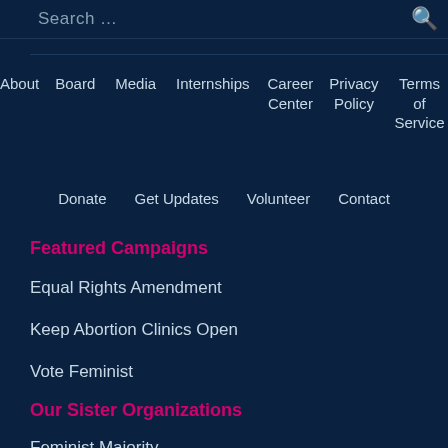Search …
About
Board
Media
Internships
Career Center
Privacy Policy
Terms of Service
Donate
Get Updates
Volunteer
Contact
Featured Campaigns
Equal Rights Amendment
Keep Abortion Clinics Open
Vote Feminist
Our Sister Organizations
Feminist Majority